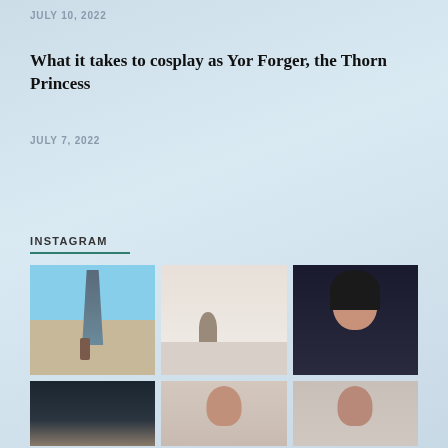JULY 10, 2022
What it takes to cosplay as Yor Forger, the Thorn Princess
JULY 7, 2022
INSTAGRAM
[Figure (photo): Instagram photo grid showing: (1) a person standing next to a large outdoor sculpture/tower with blue sky background, (2) an indoor room/mirror selfie with a person and white walls, (3) a portrait of a young woman with long dark hair. Bottom row showing three more partially visible photos: a dark outdoor scene, and two portraits of young women.]